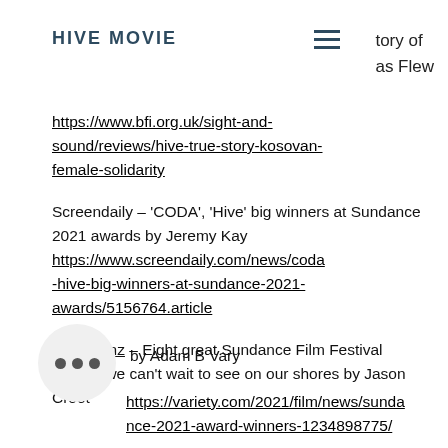HIVE MOVIE
tory of
as Flew
https://www.bfi.org.uk/sight-and-sound/reviews/hive-true-story-kosovan-female-solidarity
Screendaily – 'CODA', 'Hive' big winners at Sundance 2021 awards by Jeremy Kay https://www.screendaily.com/news/coda-hive-big-winners-at-sundance-2021-awards/5156764.article
Stuff.co.nz – Eight great Sundance Film Festival movies we can't wait to see on our shores by Jason Croot
• • •  by Adam B Vary
https://variety.com/2021/film/news/sundance-2021-award-winners-1234898775/